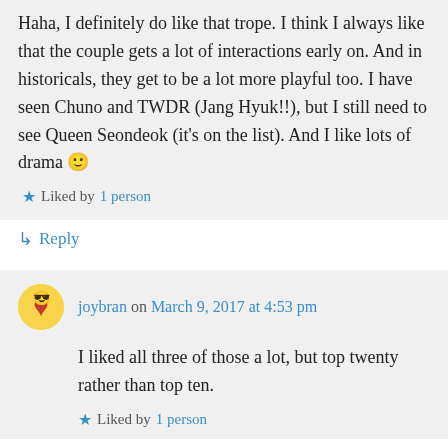Haha, I definitely do like that trope. I think I always like that the couple gets a lot of interactions early on. And in historicals, they get to be a lot more playful too. I have seen Chuno and TWDR (Jang Hyuk!!), but I still need to see Queen Seondeok (it's on the list). And I like lots of drama 🙂
Liked by 1 person
Reply
joybran on March 9, 2017 at 4:53 pm
I liked all three of those a lot, but top twenty rather than top ten.
Liked by 1 person